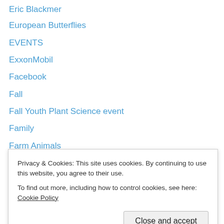Eric Blackmer
European Butterflies
EVENTS
ExxonMobil
Facebook
Fall
Fall Youth Plant Science event
Family
Farm Animals
Farmers Market
Farmers roadside stands
Farming
Federal Treaty
Fern Stamp Collection
Privacy & Cookies: This site uses cookies. By continuing to use this website, you agree to their use.
To find out more, including how to control cookies, see here: Cookie Policy
Film: Incredible Journey of the Butterflies